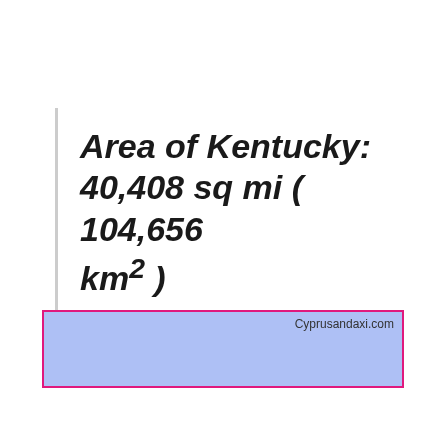Area of Kentucky: 40,408 sq mi ( 104,656 km² )
[Figure (other): Light blue rectangular advertisement box with hot-pink border, containing the text 'Cyprusandaxi.com' in the top-right corner.]